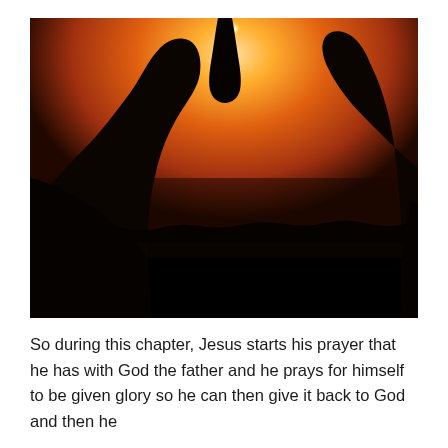[Figure (photo): Silhouette of two figures (possibly hands clasped in prayer or two people) against a dramatic orange and amber sunset sky with a bright glow at the top center.]
So during this chapter, Jesus starts his prayer that he has with God the father and he prays for himself to be given glory so he can then give it back to God and then he